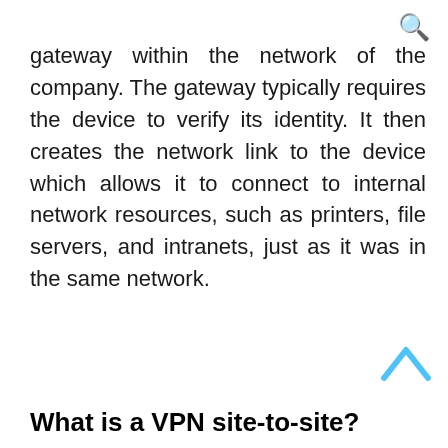🔍
gateway within the network of the company. The gateway typically requires the device to verify its identity. It then creates the network link to the device which allows it to connect to internal network resources, such as printers, file servers, and intranets, just as it was in the same network.
What is a VPN site-to-site?